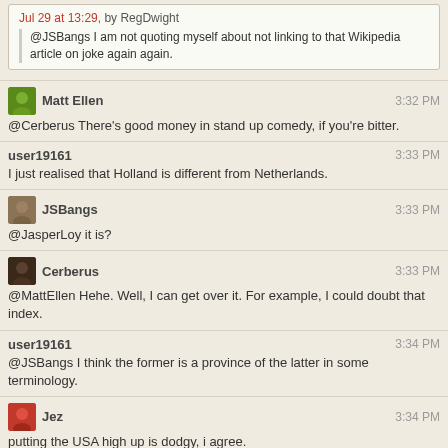Jul 29 at 13:29, by RegDwight
@JSBangs I am not quoting myself about not linking to that Wikipedia article on joke again again.
Matt Ellen 3:32 PM
@Cerberus There's good money in stand up comedy, if you're bitter.
user19161 3:33 PM
I just realised that Holland is different from Netherlands.
JSBangs 3:33 PM
@JasperLoy it is?
Cerberus 3:33 PM
@MattEllen Hehe. Well, I can get over it. For example, I could doubt that index.
user19161 3:34 PM
@JSBangs I think the former is a province of the latter in some terminology.
Jez 3:34 PM
putting the USA high up is dodgy, i agree.
JSBangs 3:34 PM
@Cerberus can you guys just change your name to Dutchistan so that we can get over that ridiculous Holland/Netherlands/Dutch confusion?
Jez 3:34 PM